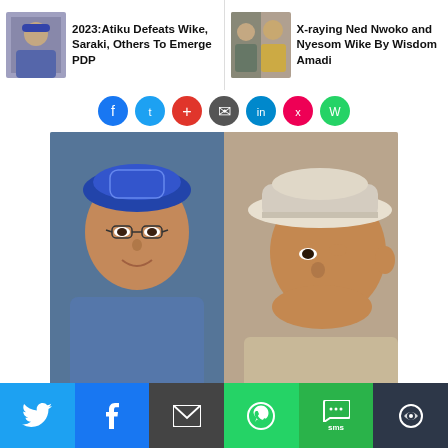[Figure (screenshot): News article navigation bar with two article teasers: '2023:Atiku Defeats Wike, Saraki, Others To Emerge PDP' with thumbnail, and 'X-raying Ned Nwoko and Nyesom Wike By Wisdom Amadi' with thumbnail]
[Figure (photo): Two Nigerian political figures side by side: on the left a man wearing a blue embroidered cap and glasses; on the right a man wearing a white fedora hat, looking sideways]
[Figure (screenshot): Social share bottom bar with Twitter (blue), Facebook (dark blue), Email (grey/dark), WhatsApp (green), SMS (green), and another icon (dark grey/teal)]